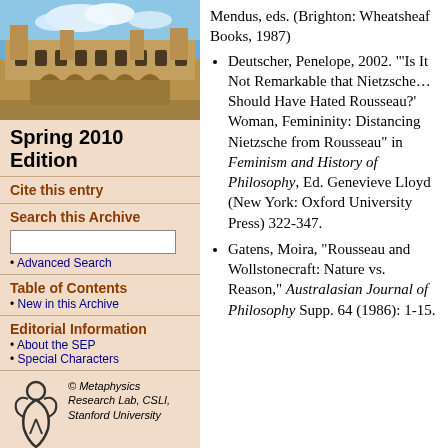[Figure (photo): Photograph of a historic stone university building with Gothic architecture under a blue sky with clouds]
Spring 2010 Edition
Cite this entry
Search this Archive
Advanced Search
Table of Contents
New in this Archive
Editorial Information
About the SEP
Special Characters
[Figure (logo): Metaphysics Research Lab, CSLI, Stanford University logo with stylized figure]
Mendus, eds. (Brighton: Wheatsheaf Books, 1987)
Deutscher, Penelope, 2002. “‘Is It Not Remarkable that Nietzsche…Should Have Hated Rousseau?’ Woman, Femininity: Distancing Nietzsche from Rousseau” in Feminism and History of Philosophy, Ed. Genevieve Lloyd (New York: Oxford University Press) 322-347.
Gatens, Moira, "Rousseau and Wollstonecraft: Nature vs. Reason," Australasian Journal of Philosophy Supp. 64 (1986): 1-15.